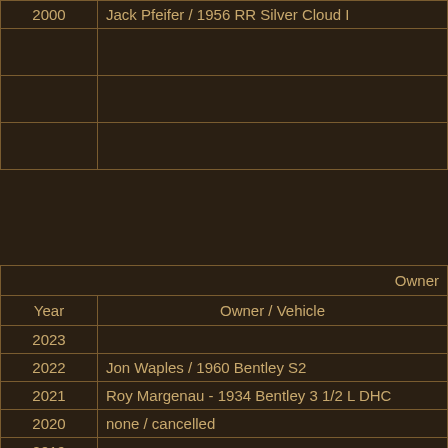| Year | Owner / Vehicle |
| --- | --- |
| 2000 | Jack Pfeifer / 1956 RR Silver Cloud I |
|  |  |
|  |  |
|  |  |
| Year | Owner / Vehicle |
| --- | --- |
| 2023 |  |
| 2022 | Jon Waples / 1960 Bentley S2 |
| 2021 | Roy Margenau - 1934 Bentley 3 1/2 L DHC |
| 2020 | none / cancelled |
| 2019 | none |
| 2018 | No Award / Rain out |
| 2017 | Dan Docherty / 1973 RR S. Shadow |
| 2016 | Gary Rock / 1924 RR Twenty |
| 2015 | Pete Kohnken / 1957 RR Silver Cloud |
| 2014 | Jon Waples / 1973 RR Silver Shadow |